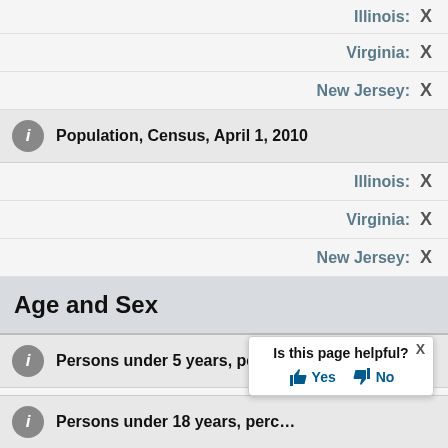Illinois: X
Virginia: X
New Jersey: X
Population, Census, April 1, 2010
Illinois: X
Virginia: X
New Jersey: X
Age and Sex
Persons under 5 years, percent
Illinois: X
Virginia: X
Persons under 18 years, perc...